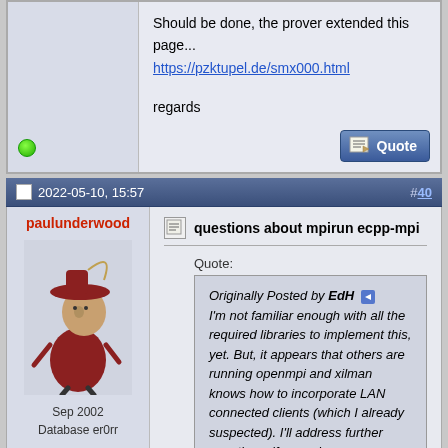Should be done, the prover extended this page...
https://pzktupel.de/smx000.html

regards
2022-05-10, 15:57  #40
paulunderwood
[Figure (illustration): Avatar of paulunderwood - a cartoon character wearing a red hat]
Sep 2002
Database er0rr
4,261 Posts
questions about mpirun ecpp-mpi
Quote:
Originally Posted by EdH
I'm not familiar enough with all the required libraries to implement this, yet. But, it appears that others are running openmpi and xilman knows how to incorporate LAN connected clients (which I already suspected). I'll address further questions, if any arise.
Regarding mpi, can ecpp-mpi be run on non-uniform processors on a network. Can clients drop out without affecting the